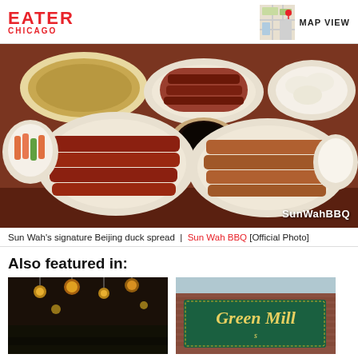EATER CHICAGO
[Figure (photo): Sun Wah BBQ signature Beijing duck spread on a dark wooden table with multiple plates of duck, rice, vegetables, steamed buns, and dipping sauce]
Sun Wah's signature Beijing duck spread | Sun Wah BBQ [Official Photo]
Also featured in:
[Figure (photo): Restaurant interior with warm golden pendant lights and chandeliers in a dark atmospheric setting]
[Figure (photo): Green Mill sign on brick building exterior with teal neon lettering]